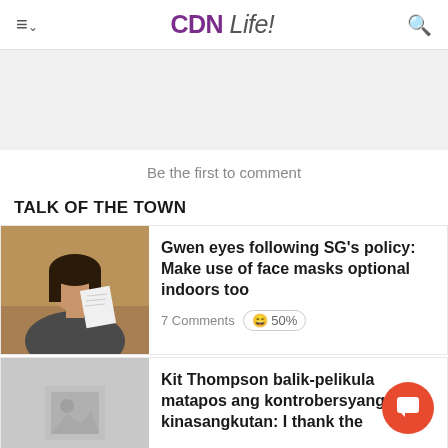CDN Life!
[Figure (other): Gray advertisement banner placeholder]
Be the first to comment
TALK OF THE TOWN
[Figure (photo): Photo of a woman with dark hair holding papers, seated indoors]
Gwen eyes following SG's policy: Make use of face masks optional indoors too
7 Comments 😄 50%
[Figure (other): Placeholder image icon for second article]
Kit Thompson balik-pelikula matapos ang kontrobersyang kinasangkutan: I thank the